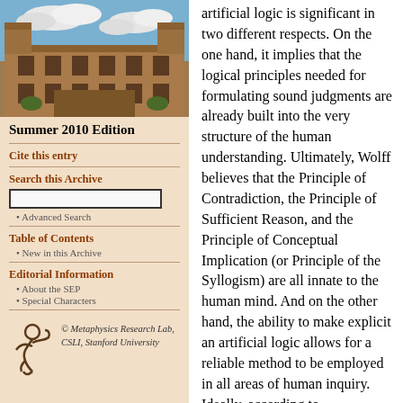[Figure (photo): Photograph of a university building (stone architecture) with blue sky and clouds]
Summer 2010 Edition
Cite this entry
Search this Archive
Advanced Search
Table of Contents
New in this Archive
Editorial Information
About the SEP
Special Characters
[Figure (logo): Metaphysics Research Lab logo — stylized figure]
© Metaphysics Research Lab, CSLI, Stanford University
artificial logic is significant in two different respects. On the one hand, it implies that the logical principles needed for formulating sound judgments are already built into the very structure of the human understanding. Ultimately, Wolff believes that the Principle of Contradiction, the Principle of Sufficient Reason, and the Principle of Conceptual Implication (or Principle of the Syllogism) are all innate to the human mind. And on the other hand, the ability to make explicit an artificial logic allows for a reliable method to be employed in all areas of human inquiry. Ideally, according to